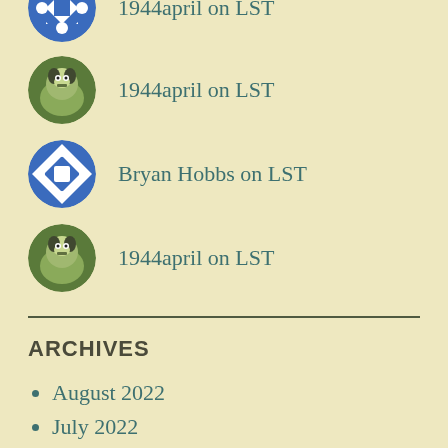1944april on LST
Bryan Hobbs on LST
1944april on LST
ARCHIVES
August 2022
July 2022
June 2022
May 2022